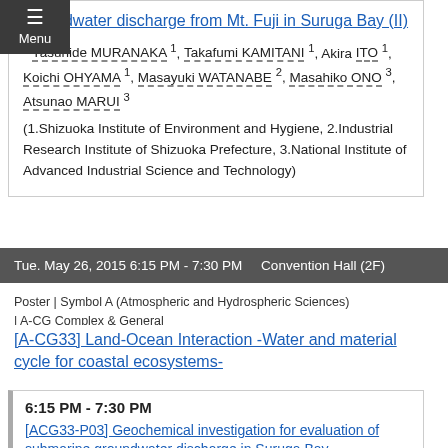groundwater discharge from Mt. Fuji in Suruga Bay (II)
* Yasuhide MURANAKA 1, Takafumi KAMITANI 1, Akira ITO 1, Koichi OHYAMA 1, Masayuki WATANABE 2, Masahiko ONO 3, Atsunao MARUI 3
(1.Shizuoka Institute of Environment and Hygiene, 2.Industrial Research Institute of Shizuoka Prefecture, 3.National Institute of Advanced Industrial Science and Technology)
Tue. May 26, 2015 6:15 PM - 7:30 PM    Convention Hall (2F)
Poster | Symbol A (Atmospheric and Hydrospheric Sciences) | A-CG Complex & General
[A-CG33] Land-Ocean Interaction -Water and material cycle for coastal ecosystems-
6:15 PM - 7:30 PM
[ACG33-P03] Geochemical investigation for evaluation of submarine groundwater discharge in Suruga Bay